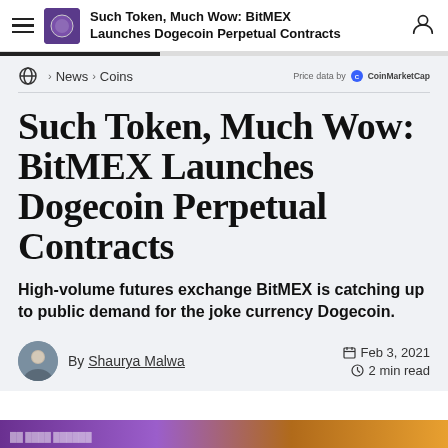Such Token, Much Wow: BitMEX Launches Dogecoin Perpetual Contracts
Price data by CoinMarketCap
News › Coins
Such Token, Much Wow: BitMEX Launches Dogecoin Perpetual Contracts
High-volume futures exchange BitMEX is catching up to public demand for the joke currency Dogecoin.
By Shaurya Malwa
Feb 3, 2021
2 min read